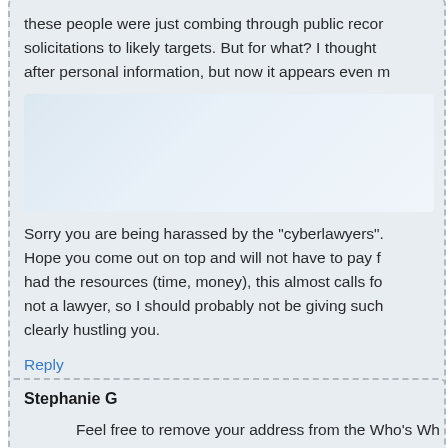these people were just combing through public records and sending solicitations to likely targets. But for what? I thought they were after personal information, but now it appears even m
Sorry you are being harassed by the "cyberlawyers". Hope you come out on top and will not have to pay f had the resources (time, money), this almost calls fo not a lawyer, so I should probably not be giving such clearly hustling you.
Reply
Stephanie G
Feel free to remove your address from the Who's Wh